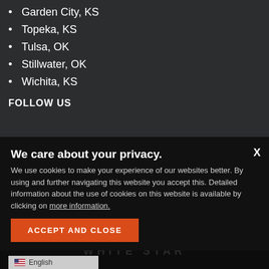Garden City, KS
Topeka, KS
Tulsa, OK
Stillwater, OK
Wichita, KS
FOLLOW US
We care about your privacy. We use cookies to make your experience of our websites better. By using and further navigating this website you accept this. Detailed information about the use of cookies on this website is available by clicking on more information.
ACCEPT AND CLOSE